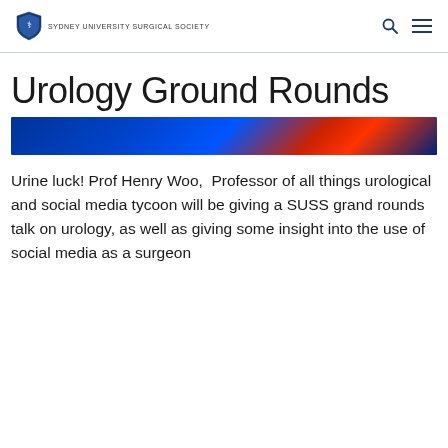SYDNEY UNIVERSITY SURGICAL SOCIETY
Urology Ground Rounds
[Figure (photo): Dark blue banner image, partially visible, showing blurred colored lights]
Urine luck! Prof Henry Woo,  Professor of all things urological and social media tycoon will be giving a SUSS grand rounds talk on urology, as well as giving some insight into the use of social media as a surgeon